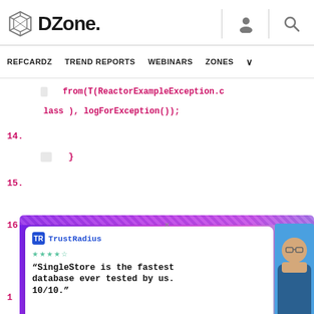DZone — REFCARDZ | TREND REPORTS | WEBINARS | ZONES
...from(T(ReactorExampleException.class), logForException());
14.    }
15.
16.
[Figure (screenshot): TrustRadius advertisement with quote: 'SingleStore is the fastest database ever tested by us. 10/10.' with star rating and person photo.]
1[7].    return logException ->